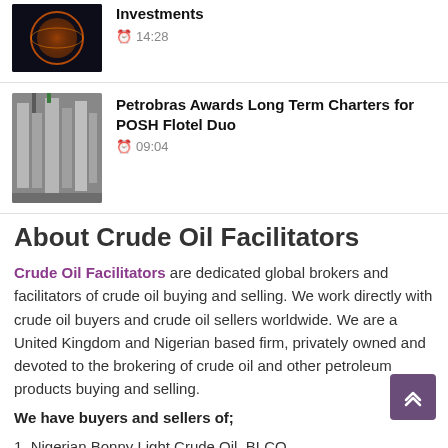[Figure (photo): Globe image with orange/red glow on dark background]
Investments
14:28
[Figure (photo): Industrial oil/chemical facility with tanks and equipment]
Petrobras Awards Long Term Charters for POSH Flotel Duo
09:04
About Crude Oil Facilitators
Crude Oil Facilitators are dedicated global brokers and facilitators of crude oil buying and selling. We work directly with crude oil buyers and crude oil sellers worldwide. We are a United Kingdom and Nigerian based firm, privately owned and devoted to the brokering of crude oil and other petroleum products buying and selling.
We have buyers and sellers of;
1. Nigerian Bonny Light Crude Oil, BLCO
2. D2 Diesel Fuel, JP54 Jet Fuel, Mazut etc.